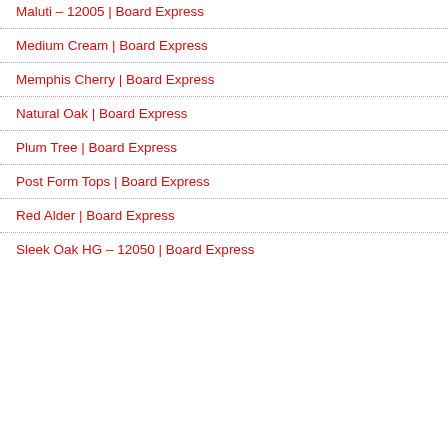Maluti – 12005 | Board Express
Medium Cream | Board Express
Memphis Cherry | Board Express
Natural Oak | Board Express
Plum Tree | Board Express
Post Form Tops | Board Express
Red Alder | Board Express
Sleek Oak HG – 12050 | Board Express